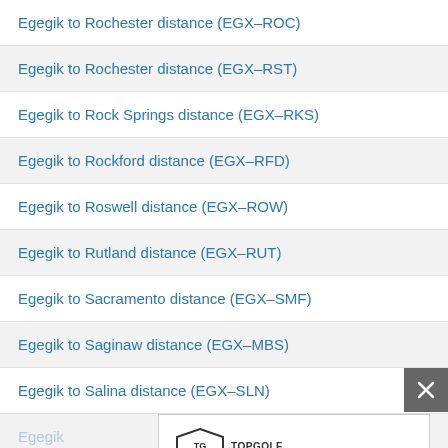Egegik to Rochester distance (EGX–ROC)
Egegik to Rochester distance (EGX–RST)
Egegik to Rock Springs distance (EGX–RKS)
Egegik to Rockford distance (EGX–RFD)
Egegik to Roswell distance (EGX–ROW)
Egegik to Rutland distance (EGX–RUT)
Egegik to Sacramento distance (EGX–SMF)
Egegik to Saginaw distance (EGX–MBS)
Egegik to Salina distance (EGX–SLN)
[Figure (screenshot): Advertisement overlay showing Topgolf logo with Dine-in checkmark and Delivery cross icons, navigation arrow icon, play icon, and close X button]
Egegik to San Angelo distance (EGX–SJT)